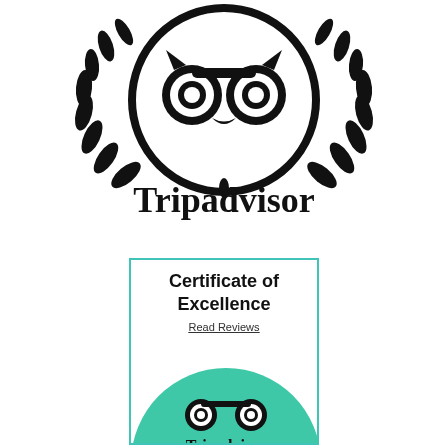[Figure (logo): Tripadvisor black logo with owl face inside circle and laurel wreath wings, with 'Tripadvisor' text below in black serif-style font]
[Figure (infographic): Tripadvisor Certificate of Excellence badge: a teal-bordered box containing bold text 'Certificate of Excellence', underlined link 'Read Reviews', and a green semicircle with Tripadvisor owl logo and 'Tripadvisor' text in black]